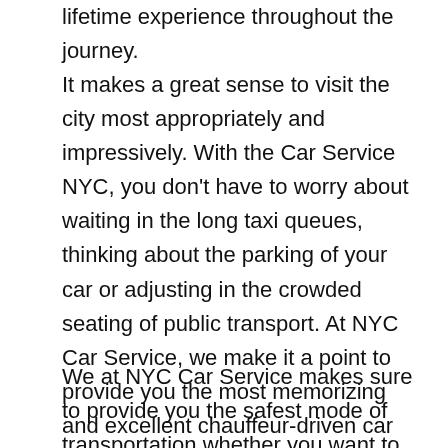lifetime experience throughout the journey.
It makes a great sense to visit the city most appropriately and impressively. With the Car Service NYC, you don't have to worry about waiting in the long taxi queues, thinking about the parking of your car or adjusting in the crowded seating of public transport. At NYC Car Service, we make it a point to provide you the most memorizing and excellent chauffeur-driven car service and provide you the VIP treatment throughout the journey.
We at NYC Car Service makes sure to provide you the safest mode of transportation whether you want to take a leisure ride in Huntington Station, NY, or wish to travel through New York City, Manhattan and